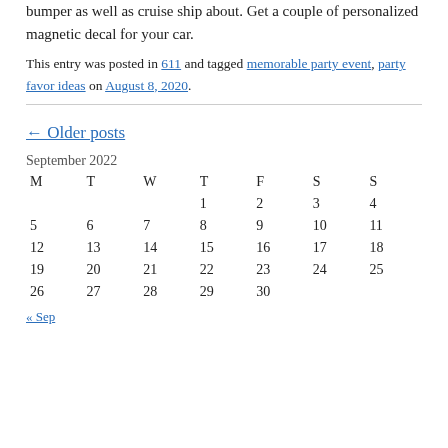bumper as well as cruise ship about. Get a couple of personalized magnetic decal for your car.
This entry was posted in 611 and tagged memorable party event, party favor ideas on August 8, 2020.
← Older posts
| M | T | W | T | F | S | S |
| --- | --- | --- | --- | --- | --- | --- |
|  |  |  | 1 | 2 | 3 | 4 |
| 5 | 6 | 7 | 8 | 9 | 10 | 11 |
| 12 | 13 | 14 | 15 | 16 | 17 | 18 |
| 19 | 20 | 21 | 22 | 23 | 24 | 25 |
| 26 | 27 | 28 | 29 | 30 |  |  |
« Sep